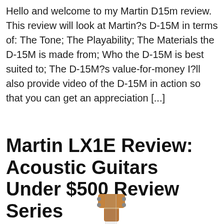Hello and welcome to my Martin D15m review. This review will look at Martin?s D-15M in terms of: The Tone; The Playability; The Materials the D-15M is made from; Who the D-15M is best suited to; The D-15M?s value-for-money I?ll also provide video of the D-15M in action so that you can get an appreciation [...]
Martin LX1E Review: Acoustic Guitars Under $500 Review Series
[Figure (photo): Headstock of an acoustic guitar, showing tuning pegs, viewed from front, brown/natural wood color]